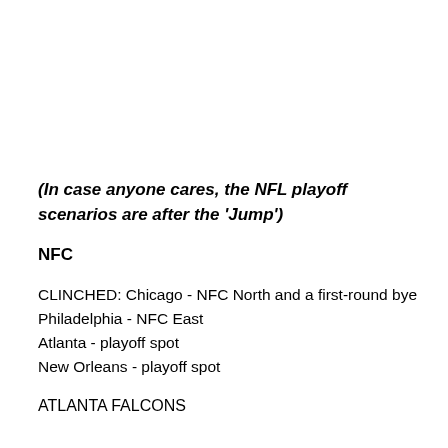(In case anyone cares, the NFL playoff scenarios are after the 'Jump')
NFC
CLINCHED: Chicago - NFC North and a first-round bye
Philadelphia - NFC East
Atlanta - playoff spot
New Orleans - playoff spot
ATLANTA FALCONS